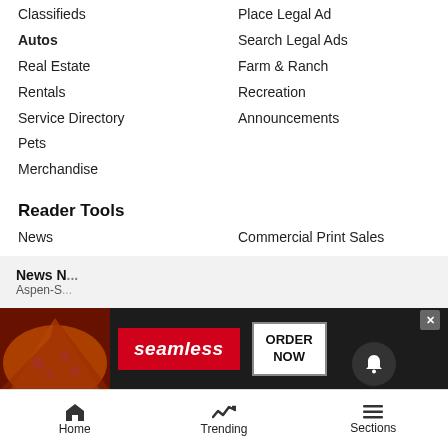Classifieds
Place Legal Ad
Autos
Search Legal Ads
Real Estate
Farm & Ranch
Rentals
Recreation
Service Directory
Announcements
Pets
Merchandise
Reader Tools
News
Commercial Print Sales
Contact Us
RSS
Become a Carrier
AP News
Submissions
Post Independent E-Edition
Submit an Obituary
Citizen Telegram E-Edition
Advertise with Us
Cookie List
Archives
Do not sell my personal information
Newsletters
[Figure (screenshot): Seamless food delivery advertisement banner with pizza image, red Seamless logo, and ORDER NOW button]
News N... Aspen-S...
Home | Trending | Sections